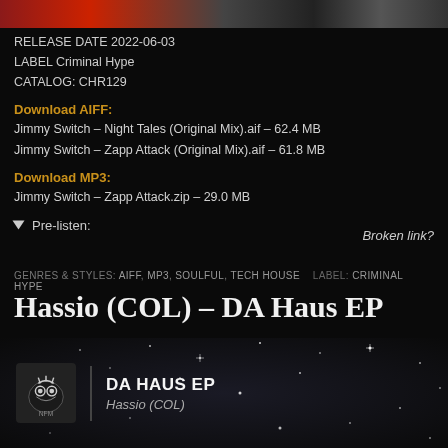[Figure (photo): Top banner image — partial album artwork, dark red and grey tones]
RELEASE DATE 2022-06-03
LABEL Criminal Hype
CATALOG: CHR129
Download AIFF:
Jimmy Switch – Night Tales (Original Mix).aif – 62.4 MB
Jimmy Switch – Zapp Attack (Original Mix).aif – 61.8 MB
Download MP3:
Jimmy Switch – Zapp Attack.zip – 29.0 MB
▾ Pre-listen:
Broken link?
GENRES & STYLES: AIFF, MP3, SOULFUL, TECH HOUSE    LABEL: CRIMINAL HYPE
Hassio (COL) – DA Haus EP
© JUNE 8, 2022   JUAN DE JKMK
[Figure (photo): DA Haus EP album cover by Hassio (COL) — dark starfield background with logo and text]